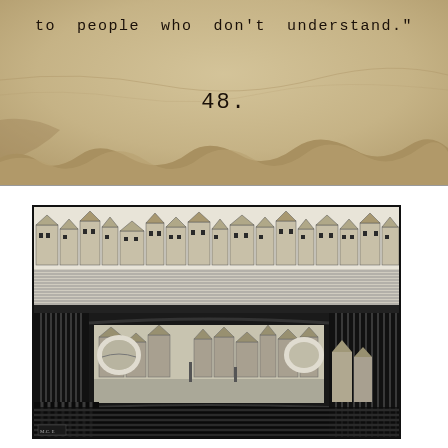to people who don't understand."
48.
[Figure (illustration): Black and white Escher-style lithograph showing an impossible architectural scene with a town of Dutch-style buildings viewed from above, with a massive curved viaduct/bridge structure with distinctive ribbed cylindrical supports spanning across the middle. The structure creates an optical illusion with arches revealing more townscape below. Signed with initials in bottom left corner.]